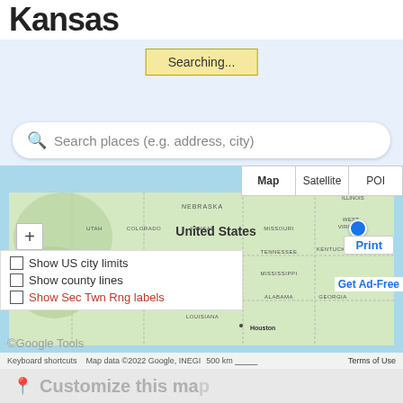Kansas
[Figure (screenshot): Search bar area with 'Searching...' button on a light blue background]
Search places (e.g. address, city)
[Figure (map): Google Maps screenshot showing United States map with state labels including Nebraska, Kansas, Missouri, Oklahoma, Tennessee, Arkansas, Mississippi, Alabama, Georgia, Louisiana, Colorado, Utah, Kentucky, West Virginia. Houston labeled. Map/Satellite/POI toggle. Blue location dot. Print button. Checkboxes for Show US city limits, Show county lines, Show Sec Twn Rng labels. Get Ad-Free link. Keyboard shortcuts and map data copyright footer.]
Customize this map